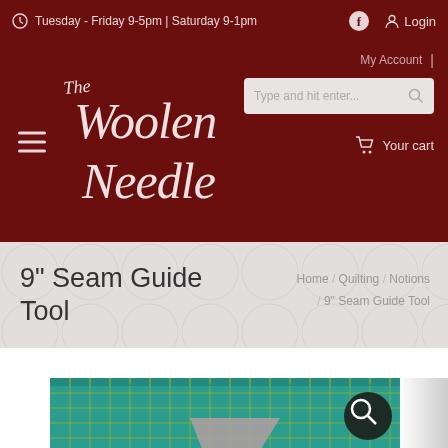Tuesday - Friday 9-5pm | Saturday 9-1pm
Login
[Figure (logo): The Woolen Needle store logo in cursive white text on dark red background]
My Account
Type and hit enter...
Your cart
9" Seam Guide Tool
Home / Quilting / Notions / 9" Seam Guide Tool
[Figure (photo): Product photo of a 9-inch seam guide tool on a green cutting mat with yellow grid lines, triangle-shaped fabric visible]